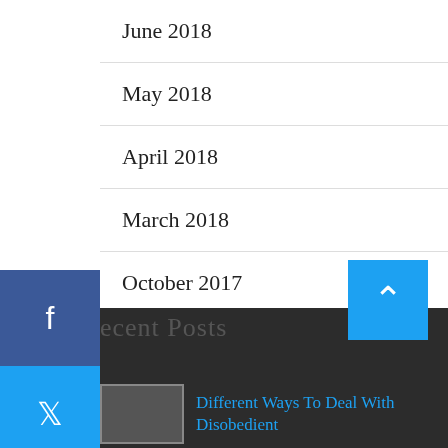June 2018
May 2018
April 2018
March 2018
October 2017
September 2017
Recent Posts
Different Ways To Deal With Disobedient